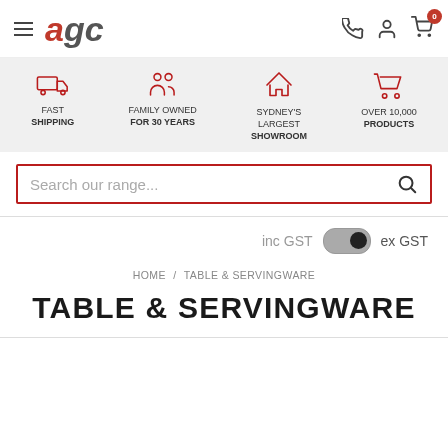agc — navigation header with hamburger menu, logo, phone icon, user icon, cart (0)
[Figure (infographic): Feature icons bar: FAST SHIPPING (truck icon), FAMILY OWNED FOR 30 YEARS (people icon), SYDNEY'S LARGEST SHOWROOM (house icon), OVER 10,000 PRODUCTS (cart icon)]
Search our range...
inc GST  [toggle]  ex GST
HOME / TABLE & SERVINGWARE
TABLE & SERVINGWARE